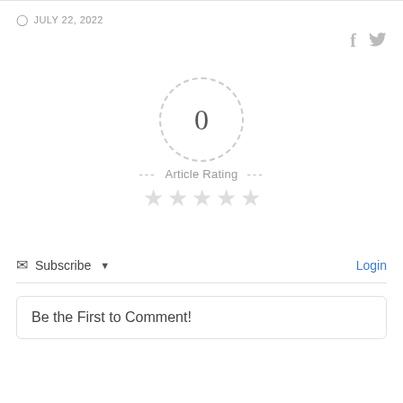JULY 22, 2022
[Figure (infographic): Article rating widget showing 0 inside a dashed circle, dashes on either side, 'Article Rating' label, and five empty star icons below]
Subscribe ▾   Login
Be the First to Comment!